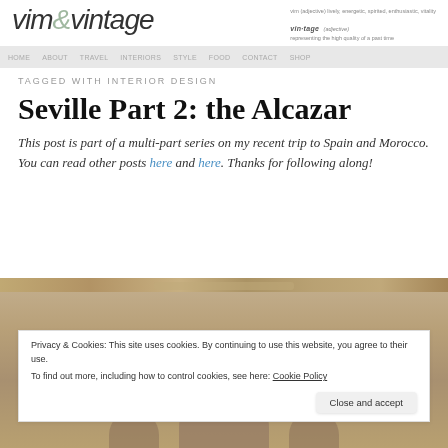vim&vintage — representing the high quality of a past time
TAGGED WITH INTERIOR DESIGN
Seville Part 2: the Alcazar
This post is part of a multi-part series on my recent trip to Spain and Morocco. You can read other posts here and here.  Thanks for following along!
[Figure (photo): Partial view of a decorative architectural photo from Seville/Alcazar]
Privacy & Cookies: This site uses cookies. By continuing to use this website, you agree to their use. To find out more, including how to control cookies, see here: Cookie Policy
Close and accept